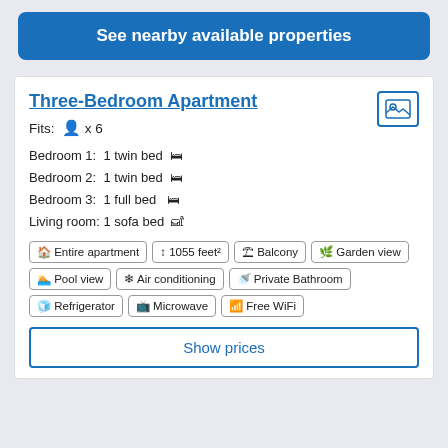See nearby available properties
Three-Bedroom Apartment
Fits: x 6
Bedroom 1: 1 twin bed
Bedroom 2: 1 twin bed
Bedroom 3: 1 full bed
Living room: 1 sofa bed
Entire apartment | 1055 feet² | Balcony | Garden view | Pool view | Air conditioning | Private Bathroom | Refrigerator | Microwave | Free WiFi
Show prices